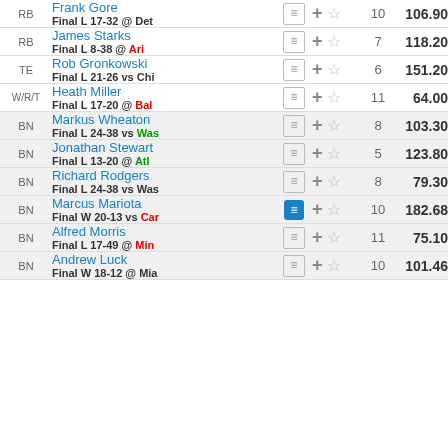| Pos | Player |  | Actions | Rank | Score |
| --- | --- | --- | --- | --- | --- |
| RB | Frank Gore
Final L 17-32 @ Det | ≡ | +☆ | 10 | 106.90 |
| RB | James Starks
Final L 8-38 @ Ari | ≡ | +☆ | 7 | 118.20 |
| TE | Rob Gronkowski
Final L 21-26 vs Chi | ≡ | +☆ | 6 | 151.20 |
| W/R/T | Heath Miller
Final L 17-20 @ Bal | ≡ | +☆ | 11 | 64.00 |
| BN | Markus Wheaton
Final L 24-38 vs Was | ≡ | +☆ | 8 | 103.30 |
| BN | Jonathan Stewart
Final L 13-20 @ Atl | ≡ | +☆ | 5 | 123.80 |
| BN | Richard Rodgers
Final L 24-38 vs Was | ≡ | +☆ | 8 | 79.30 |
| BN | Marcus Mariota
Final W 20-13 vs Car | ≡ | +☆ | 10 | 182.68 |
| BN | Alfred Morris
Final L 17-49 @ Min | ≡ | +☆ | 11 | 75.10 |
| BN | Andrew Luck
Final W 18-12 @ Mia | ≡ | +☆ | 10 | 101.46 |